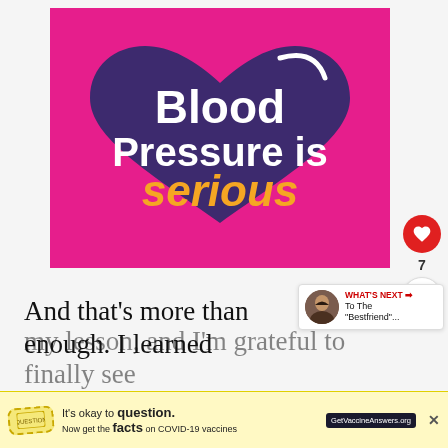[Figure (infographic): Pink square background with a dark purple heart shape in the center. White bold text reads 'Blood Pressure is' and gold/yellow bold italic text reads 'serious'. A white curved line arc appears at the top right of the heart.]
And that's more than enough. I learned my lesson, and I'm grateful to finally see th...
[Figure (infographic): What's Next recommendation card showing a small avatar photo and red label 'WHAT'S NEXT →' with text 'To The "Bestfriend"...']
[Figure (infographic): Ad banner: yellow background, stamp logo, text 'It's okay to question. Now get the facts on COVID-19 vaccines' with GetVaccineAnswers.org badge and X close button]